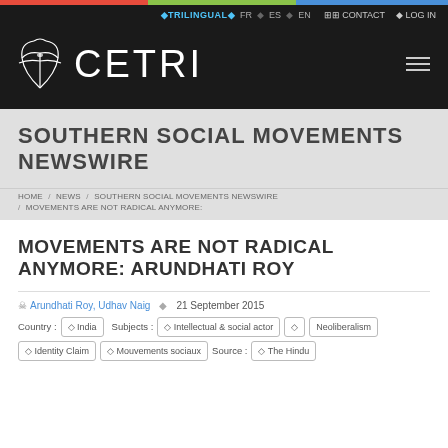TRILINGUAL FR ES EN   CONTACT   LOG IN
[Figure (logo): CETRI website header with logo (abstract bird/dragonfly icon) and site name CETRI in large white letters on dark background, with hamburger menu icon on right]
SOUTHERN SOCIAL MOVEMENTS NEWSWIRE
HOME / NEWS / SOUTHERN SOCIAL MOVEMENTS NEWSWIRE / MOVEMENTS ARE NOT RADICAL ANYMORE:
MOVEMENTS ARE NOT RADICAL ANYMORE: ARUNDHATI ROY
Arundhati Roy, Udhav Naig   21 September 2015
Country : India   Subjects : Intellectual & social actor   Neoliberalism   Identity Claim   Mouvements sociaux   Source : The Hindu